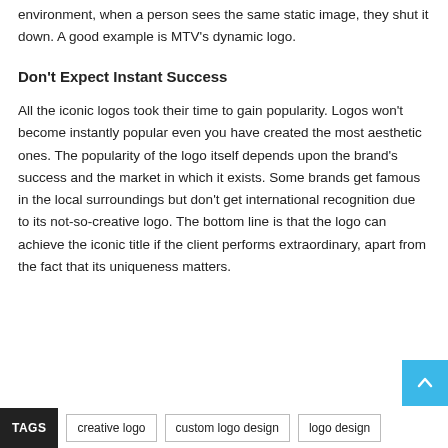environment, when a person sees the same static image, they shut it down. A good example is MTV's dynamic logo.
Don't Expect Instant Success
All the iconic logos took their time to gain popularity. Logos won't become instantly popular even you have created the most aesthetic ones. The popularity of the logo itself depends upon the brand's success and the market in which it exists. Some brands get famous in the local surroundings but don't get international recognition due to its not-so-creative logo. The bottom line is that the logo can achieve the iconic title if the client performs extraordinary, apart from the fact that its uniqueness matters.
TAGS: creative logo, custom logo design, logo design